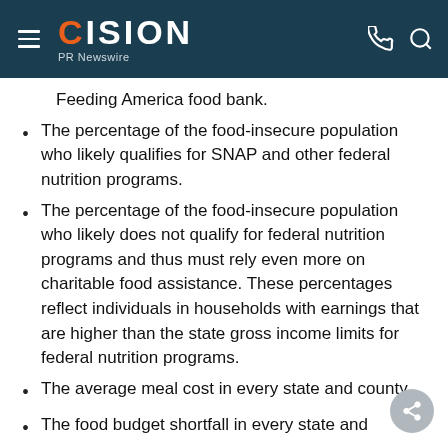CISION PR Newswire
Feeding America food bank.
The percentage of the food-insecure population who likely qualifies for SNAP and other federal nutrition programs.
The percentage of the food-insecure population who likely does not qualify for federal nutrition programs and thus must rely even more on charitable food assistance. These percentages reflect individuals in households with earnings that are higher than the state gross income limits for federal nutrition programs.
The average meal cost in every state and county
The food budget shortfall in every state and